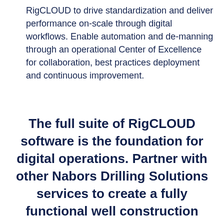RigCLOUD to drive standardization and deliver performance on-scale through digital workflows. Enable automation and de-manning through an operational Center of Excellence for collaboration, best practices deployment and continuous improvement.
The full suite of RigCLOUD software is the foundation for digital operations. Partner with other Nabors Drilling Solutions services to create a fully functional well construction operations center.